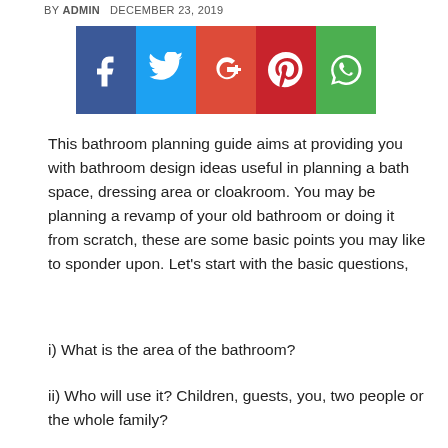BY ADMIN   DECEMBER 23, 2019
[Figure (infographic): Social sharing buttons bar: Facebook (blue), Twitter (light blue), Google+ (red-orange), Pinterest (dark red), WhatsApp (green)]
This bathroom planning guide aims at providing you with bathroom design ideas useful in planning a bath space, dressing area or cloakroom. You may be planning a revamp of your old bathroom or doing it from scratch, these are some basic points you may like to sponder upon. Let's start with the basic questions,
i) What is the area of the bathroom?
ii) Who will use it? Children, guests, you, two people or the whole family?